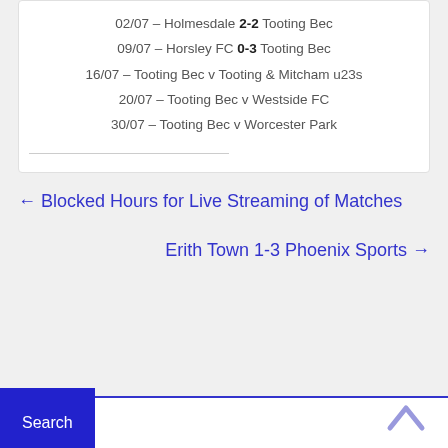02/07 – Holmesdale 2-2 Tooting Bec
09/07 – Horsley FC 0-3 Tooting Bec
16/07 – Tooting Bec v Tooting & Mitcham u23s
20/07 – Tooting Bec v Westside FC
30/07 – Tooting Bec v Worcester Park
← Blocked Hours for Live Streaming of Matches
Erith Town 1-3 Phoenix Sports →
Search